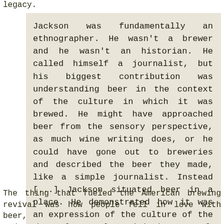legacy.
Jackson was fundamentally an ethnographer. He wasn't a brewer and he wasn't an historian. He called himself a journalist, but his biggest contribution was understanding beer in the context of the culture in which it was brewed. He might have approached beer from the sensory perspective, as much wine writing does, or he could have gone out to breweries and described the beer they made, like a simple journalist. Instead [...] Jackson situated beer in a place. He demonstrated how it was an expression of the culture of the people who made it.
The thing that fueled the American brewing revival was how people fell in love with beer, and Jackson alternately positioning some of [